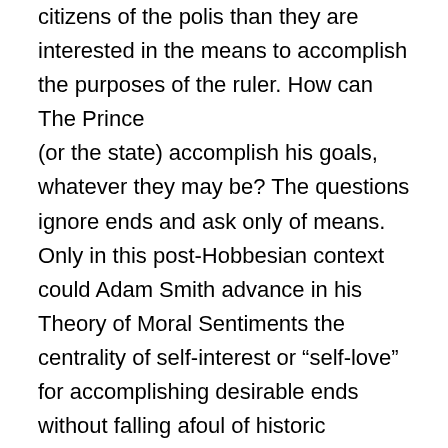citizens of the polis than they are interested in the means to accomplish the purposes of the ruler. How can The Prince (or the state) accomplish his goals, whatever they may be? The questions ignore ends and ask only of means. Only in this post-Hobbesian context could Adam Smith advance in his Theory of Moral Sentiments the centrality of self-interest or “self-love” for accomplishing desirable ends without falling afoul of historic Christian thought. Nonetheless, Adam Smith sounds more balanced than his immediate predecessor, Bernard Mandeville, who in 1705 wrote a book titled The Fable of the Bees: or Private Lives, Public Benefits. Just four centuries earlier at the time of Dante, the Augustinian notion of virtue as “ordered loves” was still axiomatic. While Augustine conceded that the “City of Man” is indeed ordered around self-love, the “City